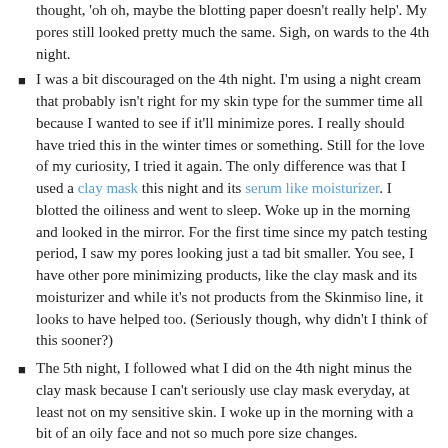thought, 'oh oh, maybe the blotting paper doesn't really help'. My pores still looked pretty much the same. Sigh, on wards to the 4th night.
I was a bit discouraged on the 4th night. I'm using a night cream that probably isn't right for my skin type for the summer time all because I wanted to see if it'll minimize pores. I really should have tried this in the winter times or something. Still for the love of my curiosity, I tried it again. The only difference was that I used a clay mask this night and its serum like moisturizer. I blotted the oiliness and went to sleep. Woke up in the morning and looked in the mirror. For the first time since my patch testing period, I saw my pores looking just a tad bit smaller. You see, I have other pore minimizing products, like the clay mask and its moisturizer and while it's not products from the Skinmiso line, it looks to have helped too. (Seriously though, why didn't I think of this sooner?)
The 5th night, I followed what I did on the 4th night minus the clay mask because I can't seriously use clay mask everyday, at least not on my sensitive skin. I woke up in the morning with a bit of an oily face and not so much pore size changes.
The 6th night was the same as the 5th and the result is